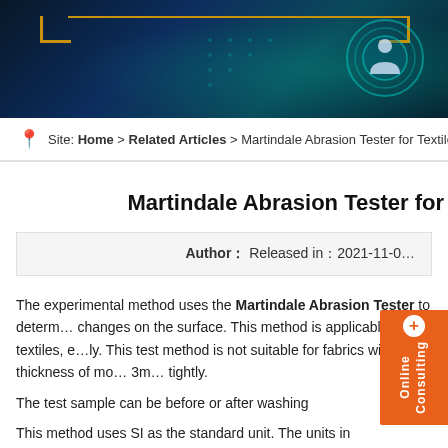[Figure (photo): Dark blue tech/digital banner with golden corner brackets and circular person icon on the right]
Site: Home > Related Articles > Martindale Abrasion Tester for Textile Experimen…
Martindale Abrasion Tester for
Author： Released in：2021-11-0…
The experimental method uses the Martindale Abrasion Tester to determine changes on the surface. This method is applicable to all textiles, especially. This test method is not suitable for fabrics with a thickness of more than 3m tightly.
The test sample can be before or after washing
This method uses SI as the standard unit. The units in parentheses r m
This standard describes the introduction of… But it is based…